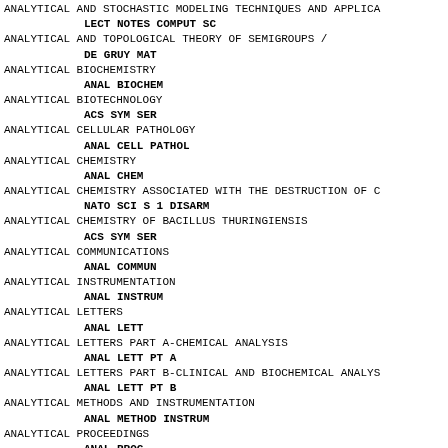ANALYTICAL AND STOCHASTIC MODELING TECHNIQUES AND APPLICA...
    LECT NOTES COMPUT SC
ANALYTICAL AND TOPOLOGICAL THEORY OF SEMIGROUPS /
    DE GRUY MAT
ANALYTICAL BIOCHEMISTRY
    ANAL BIOCHEM
ANALYTICAL BIOTECHNOLOGY
    ACS SYM SER
ANALYTICAL CELLULAR PATHOLOGY
    ANAL CELL PATHOL
ANALYTICAL CHEMISTRY
    ANAL CHEM
ANALYTICAL CHEMISTRY ASSOCIATED WITH THE DESTRUCTION OF C...
    NATO SCI S 1 DISARM
ANALYTICAL CHEMISTRY OF BACILLUS THURINGIENSIS
    ACS SYM SER
ANALYTICAL COMMUNICATIONS
    ANAL COMMUN
ANALYTICAL INSTRUMENTATION
    ANAL INSTRUM
ANALYTICAL LETTERS
    ANAL LETT
ANALYTICAL LETTERS PART A-CHEMICAL ANALYSIS
    ANAL LETT PT A
ANALYTICAL LETTERS PART B-CLINICAL AND BIOCHEMICAL ANALYS...
    ANAL LETT PT B
ANALYTICAL METHODS AND INSTRUMENTATION
    ANAL METHOD INSTRUM
ANALYTICAL PROCEEDINGS
    ANAL PROC